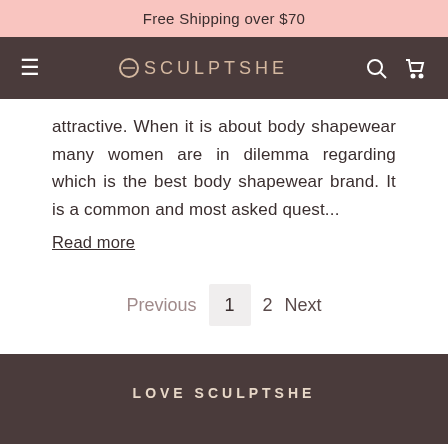Free Shipping over $70
SCULPTSHE (navigation bar with logo, search, cart)
attractive. When it is about body shapewear many women are in dilemma regarding which is the best body shapewear brand. It is a common and most asked quest...
Read more
Previous 1 2 Next
LOVE SCULPTSHE